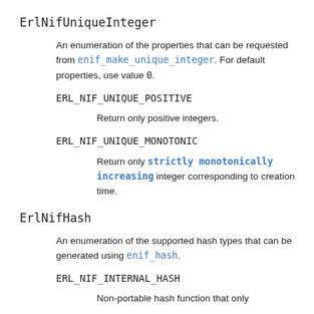ErlNifUniqueInteger
An enumeration of the properties that can be requested from enif_make_unique_integer. For default properties, use value 0.
ERL_NIF_UNIQUE_POSITIVE
Return only positive integers.
ERL_NIF_UNIQUE_MONOTONIC
Return only strictly monotonically increasing integer corresponding to creation time.
ErlNifHash
An enumeration of the supported hash types that can be generated using enif_hash.
ERL_NIF_INTERNAL_HASH
Non-portable hash function that only